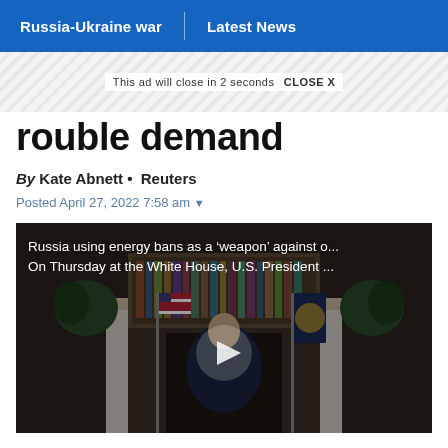Russia-Ukraine war | Latest News
rouble demand
This ad will close in 2 seconds  CLOSE X
By Kate Abnett · Reuters
Posted April 27, 2022 7:58 am
[Figure (photo): Video thumbnail showing U.S. President at the White House podium with American flag and Presidential flag. Overlay text reads: Russia using energy bans as a 'weapon' against o... / On Thursday at the White House, U.S. President ...]